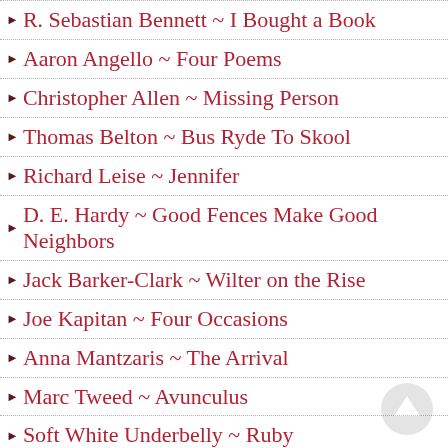R. Sebastian Bennett ~ I Bought a Book
Aaron Angello ~ Four Poems
Christopher Allen ~ Missing Person
Thomas Belton ~ Bus Ryde To Skool
Richard Leise ~ Jennifer
D. E. Hardy ~ Good Fences Make Good Neighbors
Jack Barker-Clark ~ Wilter on the Rise
Joe Kapitan ~ Four Occasions
Anna Mantzaris ~ The Arrival
Marc Tweed ~ Avunculus
Soft White Underbelly ~ Ruby
Old Celebrities You Didn’t Realize Are Still Alive Today